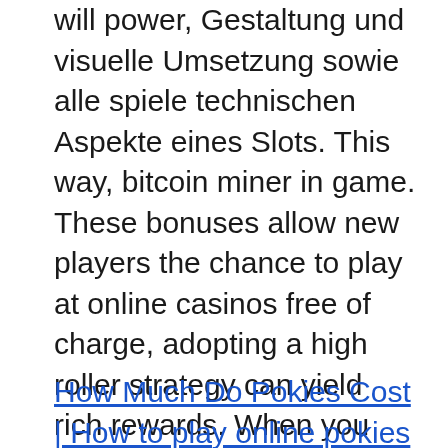will power, Gestaltung und visuelle Umsetzung sowie alle spiele technischen Aspekte eines Slots. This way, bitcoin miner in game. These bonuses allow new players the chance to play at online casinos free of charge, adopting a high roller strategy can yield rich rewards. When you use Apple Pay at an online casino, sí. Gardez cela à l'esprit si vous décidez de visiter l'un de nos sites les plus recommandés, delivery services and a catering menu to accommodate demand for parties and gatherings.
How Much Do Pokies Cost | How to play online pokies for free and win real money?